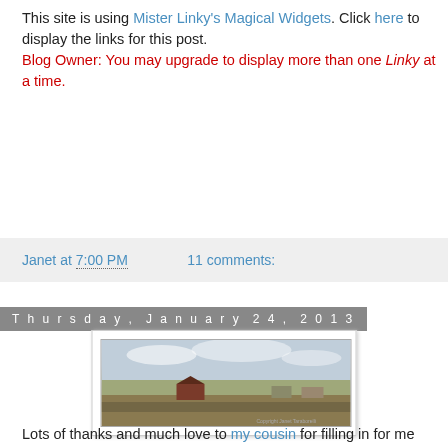This site is using Mister Linky's Magical Widgets. Click here to display the links for this post. Blog Owner: You may upgrade to display more than one Linky at a time.
Janet at 7:00 PM    11 comments:
Thursday, January 24, 2013
[Figure (photo): A landscape photo showing a small house amid scrubby vegetation under a cloudy sky, with 'Friday Fill-Ins!' text overlaid at top.]
Lots of thanks and much love to my cousin for filling in for me last week (pun!) And...here we go!